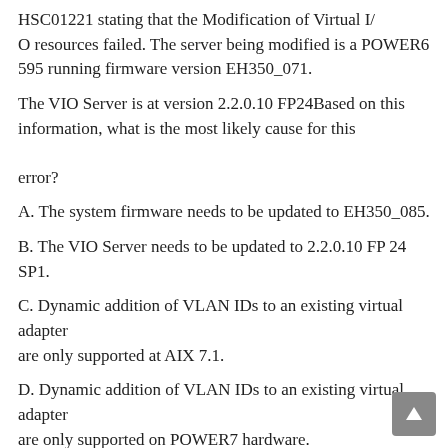HSC01221 stating that the Modification of Virtual I/O resources failed. The server being modified is a POWER6 595 running firmware version EH350_071.
The VIO Server is at version 2.2.0.10 FP24Based on this information, what is the most likely cause for this error?
A. The system firmware needs to be updated to EH350_085.
B. The VIO Server needs to be updated to 2.2.0.10 FP 24 SP1.
C. Dynamic addition of VLAN IDs to an existing virtual adapter are only supported at AIX 7.1.
D. Dynamic addition of VLAN IDs to an existing virtual adapter are only supported on POWER7 hardware.
Correct Answer: B
QUESTION NO:115
A storage specialist needs to create a new host connection